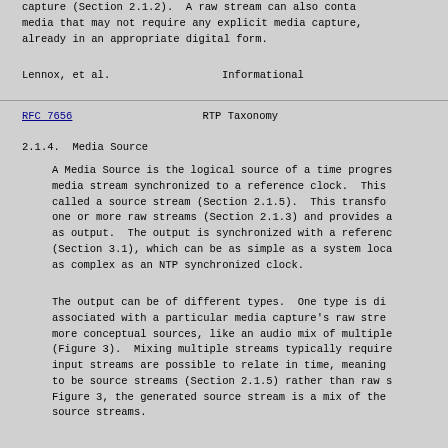capture (Section 2.1.2).  A raw stream can also conta media that may not require any explicit media capture, already in an appropriate digital form.
Lennox, et al.                    Informational
RFC 7656                          RTP Taxonomy
2.1.4.  Media Source
A Media Source is the logical source of a time progres media stream synchronized to a reference clock.  This called a source stream (Section 2.1.5).  This transfo one or more raw streams (Section 2.1.3) and provides a as output.  The output is synchronized with a referenc (Section 3.1), which can be as simple as a system loca as complex as an NTP synchronized clock.
The output can be of different types.  One type is di associated with a particular media capture's raw stre more conceptual sources, like an audio mix of multiple (Figure 3).  Mixing multiple streams typically require input streams are possible to relate in time, meaning to be source streams (Section 2.1.5) rather than raw s Figure 3, the generated source stream is a mix of the source streams.